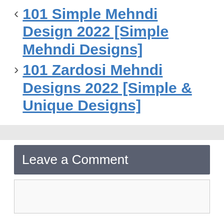< 101 Simple Mehndi Design 2022 [Simple Mehndi Designs]
> 101 Zardosi Mehndi Designs 2022 [Simple & Unique Designs]
Leave a Comment